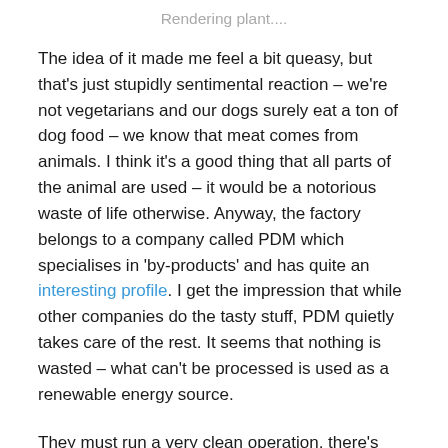Rendering plant....
The idea of it made me feel a bit queasy, but that’s just stupidly sentimental reaction – we’re not vegetarians and our dogs surely eat a ton of dog food – we know that meat comes from animals. I think it’s a good thing that all parts of the animal are used – it would be a notorious waste of life otherwise. Anyway, the factory belongs to a company called PDM which specialises in ‘by-products’ and has quite an interesting profile. I get the impression that while other companies do the tasty stuff, PDM quietly takes care of the rest. It seems that nothing is wasted – what can’t be processed is used as a renewable energy source.
They must run a very clean operation, there’s been no hint of a smell either time that we’ve passed by – I might have expected one. On the other hand, the plant is just